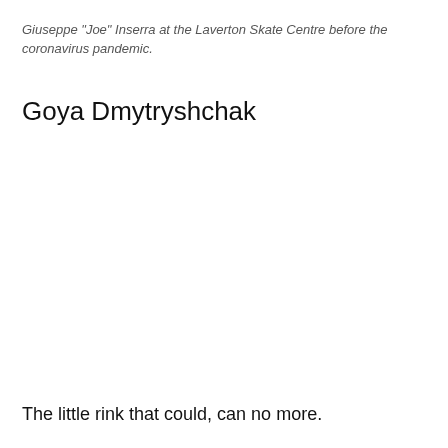Giuseppe "Joe" Inserra at the Laverton Skate Centre before the coronavirus pandemic.
Goya Dmytryshchak
The little rink that could, can no more.